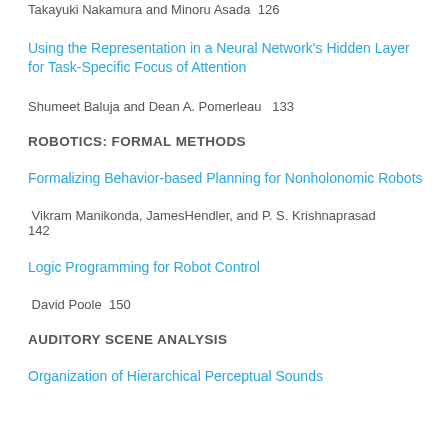Takayuki Nakamura and Minoru Asada  126
Using the Representation in a Neural Network's Hidden Layer for Task-Specific Focus of Attention
Shumeet Baluja and Dean A. Pomerleau  133
ROBOTICS: FORMAL METHODS
Formalizing Behavior-based Planning for Nonholonomic Robots
Vikram Manikonda, JamesHendler, and P. S. Krishnaprasad  142
Logic Programming for Robot Control
David Poole  150
AUDITORY SCENE ANALYSIS
Organization of Hierarchical Perceptual Sounds